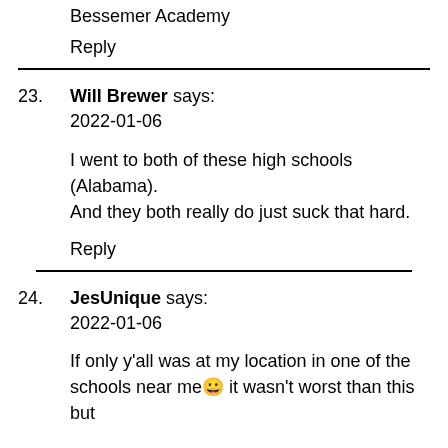Bessemer Academy
Reply
23. Will Brewer says:
2022-01-06
I went to both of these high schools (Alabama). And they both really do just suck that hard.
Reply
24. JesUnique says:
2022-01-06
If only y'all was at my location in one of the schools near me😀 it wasn't worst than this but